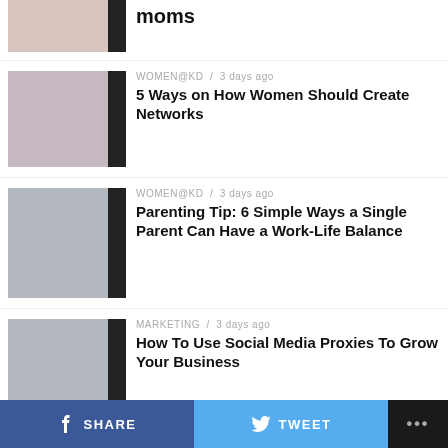[Figure (photo): Partial top article thumbnail (cars/traffic)]
moms
[Figure (photo): Group of women smiling]
WOMEN@KD / 3 days ago
5 Ways on How Women Should Create Networks
[Figure (photo): Single parent with child on street]
WOMEN@KD / 3 days ago
Parenting Tip: 6 Simple Ways a Single Parent Can Have a Work-Life Balance
[Figure (photo): Laptop on desk social media]
MARKETING / 3 days ago
How To Use Social Media Proxies To Grow Your Business
[Figure (photo): Green message bubble icon on dark background]
MARKETING / 3 days ago
Key Moves You Can Make To Improve Your Marketing Strategy Today
SHARE   TWEET   ...